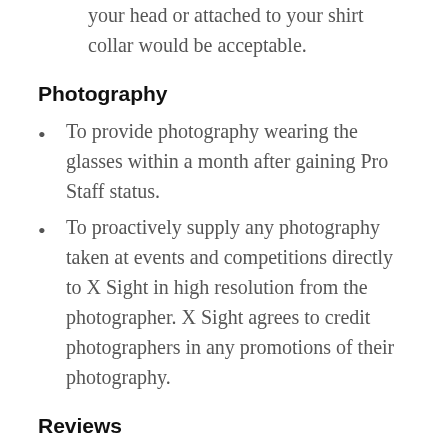your head or attached to your shirt collar would be acceptable.
Photography
To provide photography wearing the glasses within a month after gaining Pro Staff status.
To proactively supply any photography taken at events and competitions directly to X Sight in high resolution from the photographer. X Sight agrees to credit photographers in any promotions of their photography.
Reviews
To leave a positive review on the product section of our Facebook page